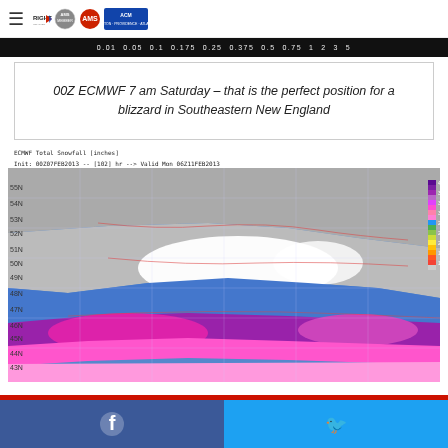RIGHT WEATHER — AMS — ACM Boston Providence Atlanta
[Figure (map): Color scale bar showing precipitation/snowfall values: 0.01, 0.05, 0.1, 0.175, 0.25, 0.375, 0.5, 0.75, 1, 2, 3, 5]
00Z ECMWF 7 am Saturday – that is the perfect position for a blizzard in Southeastern New England
[Figure (map): ECMWF Total Snowfall [inches] map. Init: 00Z07FEB2013 -- [102] hr --> Valid Mon 06Z11FEB2013. Total Snowfall between 00Z07FEB2013 -- 06Z11FEB2013. Shows snowfall totals over northeastern North America with heavy snowfall (pink/magenta/purple) across New England and mid-Atlantic states, blue over eastern Canada, white over areas with 20-30+ inches, gray over northern Canada.]
[Figure (other): Social share bar with Facebook (blue) and Twitter (light blue) buttons]